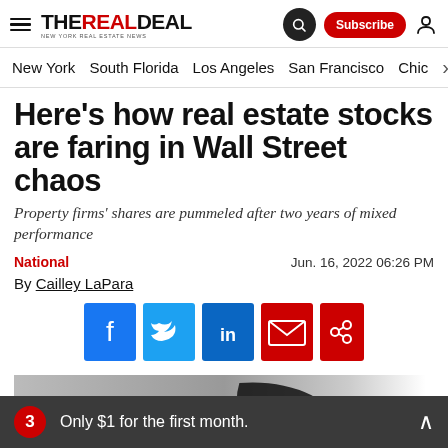THE REAL DEAL — NEW YORK REAL ESTATE NEWS
New York | South Florida | Los Angeles | San Francisco | Chicago
Here's how real estate stocks are faring in Wall Street chaos
Property firms' shares are pummeled after two years of mixed performance
National   Jun. 16, 2022 06:26 PM
By Cailley LaPara
[Figure (other): Social share buttons: Facebook, Twitter, LinkedIn, Email, Share]
3  Only $1 for the first month.